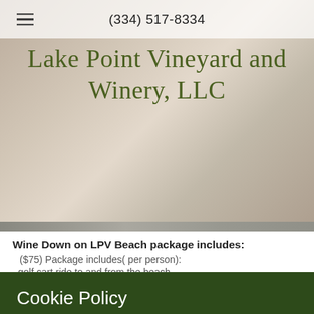(334) 517-8334
Lake Point Vineyard and Winery, LLC
Wine Down on LPV Beach package includes:
($75) Package includes( per person):
golf cart ride to and from the beach,
two- five ounce glasses of one wine of your choice
Cookie Policy
This website uses cookies. By continuing to use this site, you accept our use of cookies.
Accept & Close